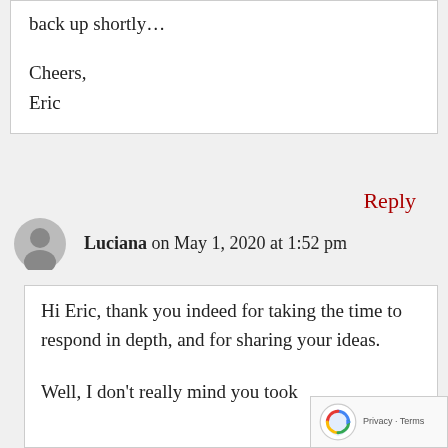back up shortly…

Cheers,
Eric
Reply
Luciana on May 1, 2020 at 1:52 pm
Hi Eric, thank you indeed for taking the time to respond in depth, and for sharing your ideas.

Well, I don't really mind you took